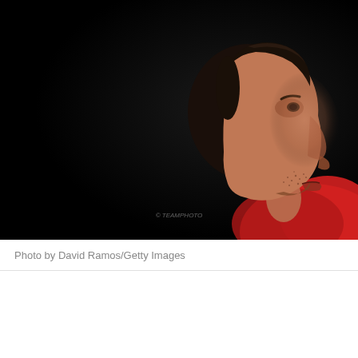[Figure (photo): Side profile photograph of a young man with dark short hair and stubble, wearing a red shirt, against a dark/black background. The subject is looking to the right. Low-key dramatic lighting. Watermark visible at bottom center.]
Photo by David Ramos/Getty Images